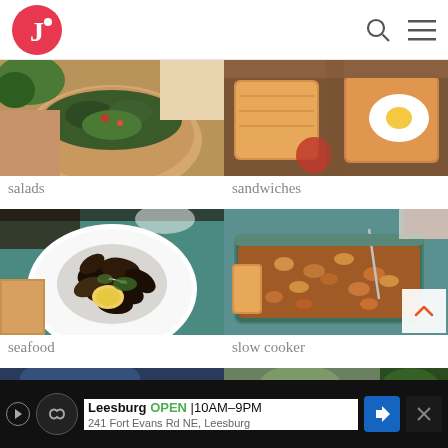[Figure (screenshot): Website header with circular red J logo on left, search icon and hamburger menu icon on right]
[Figure (photo): Salads category food photo showing a bowl with greens and kale dish]
salads
[Figure (photo): Sandwiches category food photo showing toast with fried egg]
sandwiches
[Figure (photo): Seafood category food photo showing a white bowl of mussels with lemon and herbs]
seafood
[Figure (photo): Slow cooker category food photo showing a casserole dish with beans and bread]
slow cooker
[Figure (photo): Bottom partial food photo row, partially visible]
Leesburg  OPEN  10AM-9PM  241 Fort Evans Rd NE, Leesburg